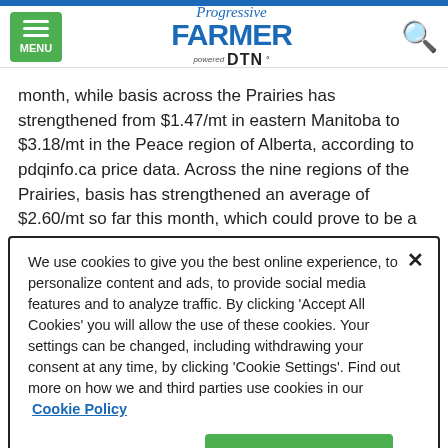Progressive Farmer powered by DTN
month, while basis across the Prairies has strengthened from $1.47/mt in eastern Manitoba to $3.18/mt in the Peace region of Alberta, according to pdqinfo.ca price data. Across the nine regions of the Prairies, basis has strengthened an average of $2.60/mt so far this month, which could prove to be a sign of things to come as combines are parked and the movement off the combine nears an end.
We use cookies to give you the best online experience, to personalize content and ads, to provide social media features and to analyze traffic. By clicking 'Accept All Cookies' you will allow the use of these cookies. Your settings can be changed, including withdrawing your consent at any time, by clicking 'Cookie Settings'. Find out more on how we and third parties use cookies in our Cookie Policy
Cookies Settings
Accept All Cookies